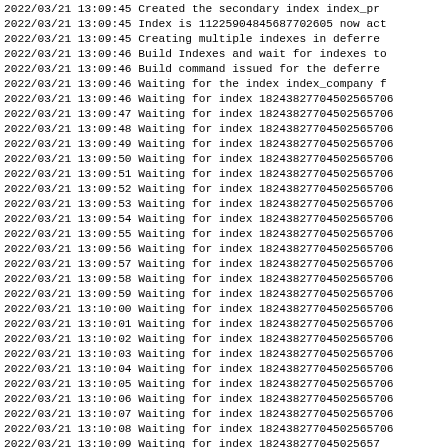2022/03/21 13:09:45 Created the secondary index index_pr...
2022/03/21 13:09:45 Index is 11225904845687702605 now act...
2022/03/21 13:09:45 Creating multiple indexes in deferre...
2022/03/21 13:09:46 Build Indexes and wait for indexes t...
2022/03/21 13:09:46 Build command issued for the deferre...
2022/03/21 13:09:46 Waiting for the index index_company ...
2022/03/21 13:09:46 Waiting for index 1824382770450256570...
2022/03/21 13:09:47 Waiting for index 1824382770450256570...
2022/03/21 13:09:48 Waiting for index 1824382770450256570...
2022/03/21 13:09:49 Waiting for index 1824382770450256570...
2022/03/21 13:09:50 Waiting for index 1824382770450256570...
2022/03/21 13:09:51 Waiting for index 1824382770450256570...
2022/03/21 13:09:52 Waiting for index 1824382770450256570...
2022/03/21 13:09:53 Waiting for index 1824382770450256570...
2022/03/21 13:09:54 Waiting for index 1824382770450256570...
2022/03/21 13:09:55 Waiting for index 1824382770450256570...
2022/03/21 13:09:56 Waiting for index 1824382770450256570...
2022/03/21 13:09:57 Waiting for index 1824382770450256570...
2022/03/21 13:09:58 Waiting for index 1824382770450256570...
2022/03/21 13:09:59 Waiting for index 1824382770450256570...
2022/03/21 13:10:00 Waiting for index 1824382770450256570...
2022/03/21 13:10:01 Waiting for index 1824382770450256570...
2022/03/21 13:10:02 Waiting for index 1824382770450256570...
2022/03/21 13:10:03 Waiting for index 1824382770450256570...
2022/03/21 13:10:04 Waiting for index 1824382770450256570...
2022/03/21 13:10:05 Waiting for index 1824382770450256570...
2022/03/21 13:10:06 Waiting for index 1824382770450256570...
2022/03/21 13:10:07 Waiting for index 1824382770450256570...
2022/03/21 13:10:08 Waiting for index 1824382770450256570...
2022/03/21 13:10:09 Waiting for index 182438277045025657...